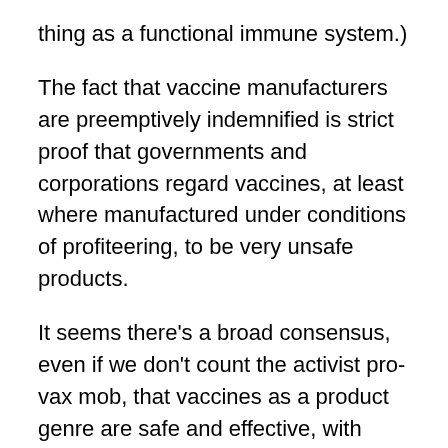thing as a functional immune system.)
The fact that vaccine manufacturers are preemptively indemnified is strict proof that governments and corporations regard vaccines, at least where manufactured under conditions of profiteering, to be very unsafe products.
It seems there’s a broad consensus, even if we don’t count the activist pro-vax mob, that vaccines as a product genre are safe and effective, with unsafe or ineffective ones being exceptions.
But in reality this is upside down. On the contrary, even if there may be some exceptional vaccines which are safe and effective, most are dubious or clearly not effective